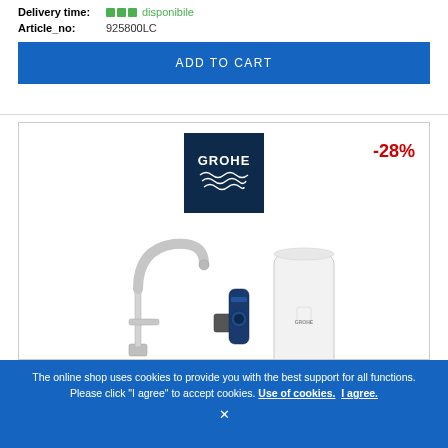Delivery time: ▪▪▪ disponibile
Article_no: 925800LC
ADD TO CART
[Figure (screenshot): GROHE brand logo on dark navy background with water wave motif]
-28%
[Figure (photo): GROHE Red product set: chrome kitchen faucet with C-spout, blue water filter cartridge, and large white hot water boiler/tank]
The online shop uses cookies to provide you with the best support for all functions. Please click "I agree" to accept cookies. Use of cookies. I agree. ×